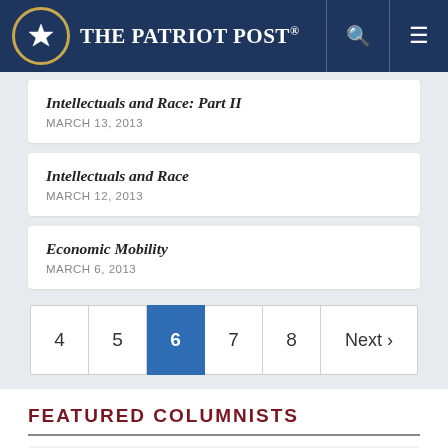The Patriot Post
Intellectuals and Race: Part II
MARCH 13, 2013
Intellectuals and Race
MARCH 12, 2013
Economic Mobility
MARCH 6, 2013
4  5  6  7  8  Next ›
FEATURED COLUMNISTS
Mark Alexander